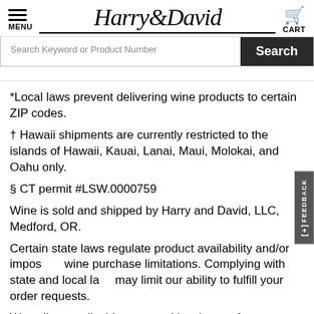Harry & David — MENU / CART / Search
*Local laws prevent delivering wine products to certain ZIP codes.
† Hawaii shipments are currently restricted to the islands of Hawaii, Kauai, Lanai, Maui, Molokai, and Oahu only.
§ CT permit #LSW.0000759
Wine is sold and shipped by Harry and David, LLC, Medford, OR.
Certain state laws regulate product availability and/or impose wine purchase limitations. Complying with state and local laws may limit our ability to fulfill your order requests.
We collect applicable state and local taxes for shipments. The taxability of wine, food, candy, or combination items varies by state. Shipping and processing will be taxed when the product is